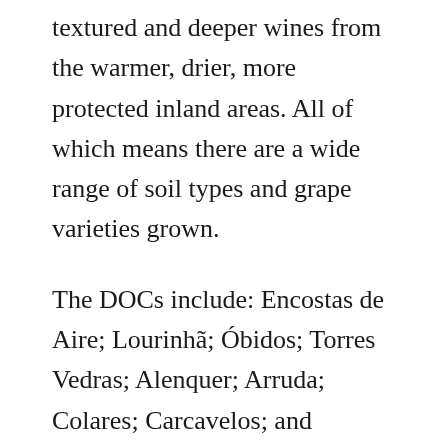textured and deeper wines from the warmer, drier, more protected inland areas. All of which means there are a wide range of soil types and grape varieties grown.
The DOCs include: Encostas de Aire; Lourinhã; Óbidos; Torres Vedras; Alenquer; Arruda; Colares; Carcavelos; and Bucelas.
Of which Colares, Carcavelos (fortified wines) and Lourinhã